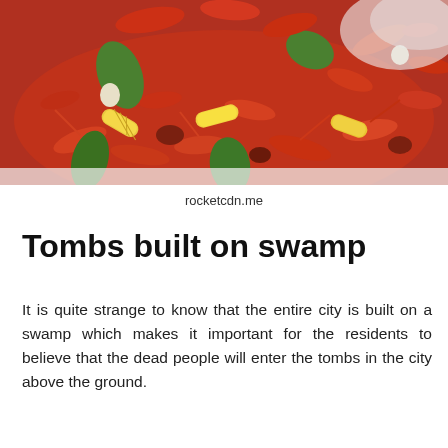[Figure (photo): A large pile of boiled crawfish mixed with corn on the cob, peppers, sausage, garlic, and other vegetables, displayed on a table with a white tablecloth. A large bowl is partially visible in the upper right corner.]
rocketcdn.me
Tombs built on swamp
It is quite strange to know that the entire city is built on a swamp which makes it important for the residents to believe that the dead people will enter the tombs in the city above the ground.